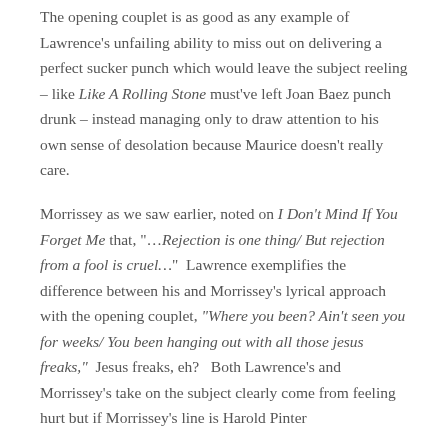The opening couplet is as good as any example of Lawrence's unfailing ability to miss out on delivering a perfect sucker punch which would leave the subject reeling – like Like A Rolling Stone must've left Joan Baez punch drunk – instead managing only to draw attention to his own sense of desolation because Maurice doesn't really care.

Morrissey as we saw earlier, noted on I Don't Mind If You Forget Me that, "…Rejection is one thing/ But rejection from a fool is cruel…" Lawrence exemplifies the difference between his and Morrissey's lyrical approach with the opening couplet, "Where you been? Ain't seen you for weeks/ You been hanging out with all those jesus freaks," Jesus freaks, eh? Both Lawrence's and Morrissey's take on the subject clearly come from feeling hurt but if Morrissey's line is Harold Pinter